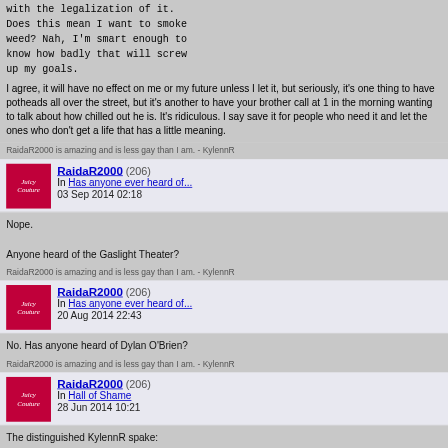with the legalization of it.
Does this mean I want to smoke weed? Nah, I'm smart enough to know how badly that will screw up my goals.
I agree, it will have no effect on me or my future unless I let it, but seriously, it's one thing to have potheads all over the street, but it's another to have your brother call at 1 in the morning wanting to talk about how chilled out he is. It's ridiculous. I say save it for people who need it and let the ones who don't get a life that has a little meaning.
RaidaR2000 is amazing and is less gay than I am. - KylennR
RaidaR2000 (206)
In Has anyone ever heard of...
03 Sep 2014 02:18
Nope.

Anyone heard of the Gaslight Theater?
RaidaR2000 is amazing and is less gay than I am. - KylennR
RaidaR2000 (206)
In Has anyone ever heard of...
20 Aug 2014 22:43
No. Has anyone heard of Dylan O'Brien?
RaidaR2000 is amazing and is less gay than I am. - KylennR
RaidaR2000 (206)
In Hall of Shame
28 Jun 2014 10:21
The distinguished KylennR spake:
The  distinguished  RaidaR2000
spake[quote]I  went  through
all last year thinking August
was a GODSEND...